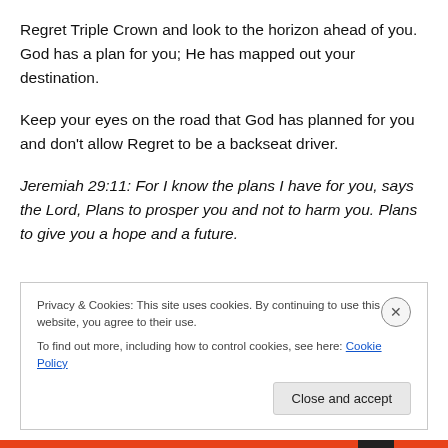Regret Triple Crown and look to the horizon ahead of you. God has a plan for you; He has mapped out your destination.
Keep your eyes on the road that God has planned for you and don't allow Regret to be a backseat driver.
Jeremiah 29:11: For I know the plans I have for you, says the Lord, Plans to prosper you and not to harm you. Plans to give you a hope and a future.
Privacy & Cookies: This site uses cookies. By continuing to use this website, you agree to their use. To find out more, including how to control cookies, see here: Cookie Policy
Close and accept